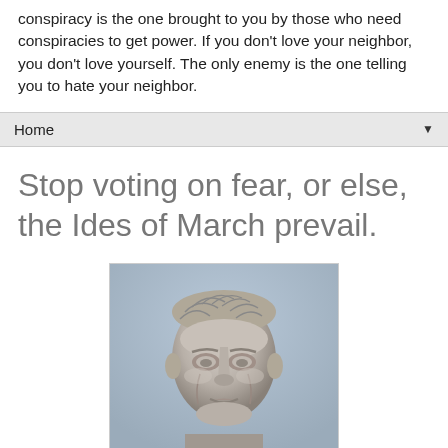conspiracy is the one brought to you by those who need conspiracies to get power. If you don't love your neighbor, you don't love yourself. The only enemy is the one telling you to hate your neighbor.
Home
Stop voting on fear, or else, the Ides of March prevail.
[Figure (photo): Black and white photograph of a marble bust sculpture depicting Julius Caesar or a Roman figure, showing the face and head with detailed carved hair.]